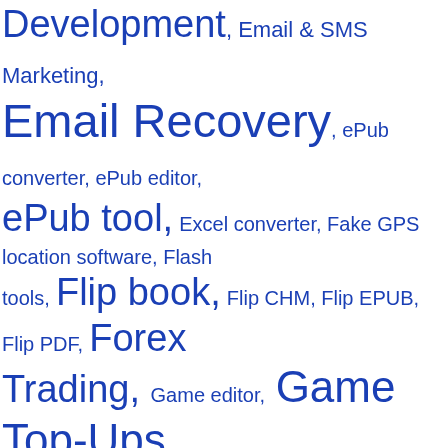Development, Email & SMS Marketing, Email Recovery, ePub converter, ePub editor, ePub tool, Excel converter, Fake GPS location software, Flash tools, Flip book, Flip CHM, Flip EPUB, Flip PDF, Forex Trading, Game editor, Game Top-Ups, Timecards, Giftcards, GIF editor, Graphic Viewers, HTML - CHM conveter, HTML - ePub conveter, HTML - SWF conveter, HTML tools, iOS Backup & Restore, iOS Management, iPad Transfer, iPhone Cleaner, iPhone